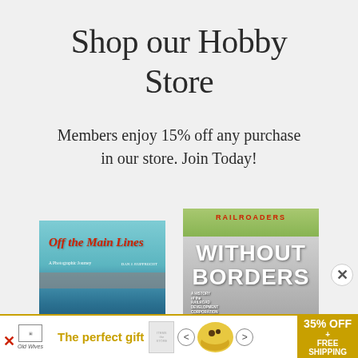Shop our Hobby Store
Members enjoy 15% off any purchase in our store. Join Today!
[Figure (photo): Book cover: 'Off the Main Lines' - a photographic journey, showing a bridge over water scene with blue sky background]
[Figure (photo): Book cover: 'Railroaders Without Borders - A History of the Railroad Development Corporation' showing road perspective with green trees overhead]
[Figure (infographic): Advertisement banner: 'The perfect gift - 35% OFF + FREE SHIPPING' with logo, glass image, arrows, and food bowl image]